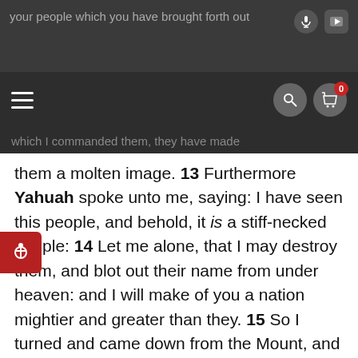your people which you have brought forth out
which I commanded them, they have made them a molten image.
them a molten image. 13 Furthermore Yahuah spoke unto me, saying: I have seen this people, and behold, it is a stiff-necked people: 14 Let me alone, that I may destroy them, and blot out their name from under heaven: and I will make of you a nation mightier and greater than they. 15 So I turned and came down from the Mount, and the Mount burned with fire: and the two caphires of the covenant were in my two hands. 16 And I looked, and behold, ye had sinned against Yahuah Elohaykem, and had